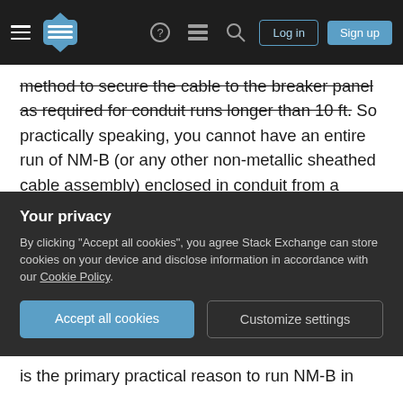Navigation bar with hamburger menu, logo, help, chat, search icons, Log in and Sign up buttons
method to secure the cable to the breaker panel as required for conduit runs longer than 10 ft. So practically speaking, you cannot have an entire run of NM-B (or any other non-metallic sheathed cable assembly) enclosed in conduit from a breaker panel because it then limits you to a maximum length of 10ft from a surface-mounted cabinet, cutout box, or meter socket enclosure (including breaker panels/boxes in their definitions).
The only direction that NM-B can exit the panel in conduit is out of the top of the panel.
Your privacy
By clicking "Accept all cookies", you agree Stack Exchange can store cookies on your device and disclose information in accordance with our Cookie Policy.
Accept all cookies
Customize settings
is the primary practical reason to run NM-B in